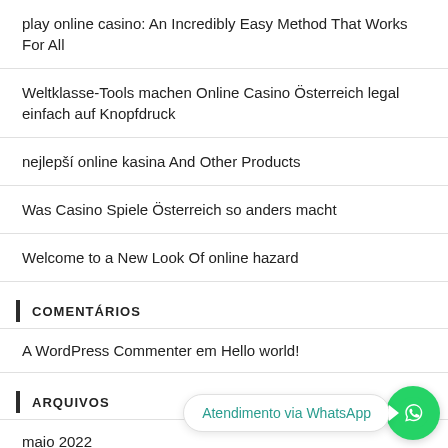play online casino: An Incredibly Easy Method That Works For All
Weltklasse-Tools machen Online Casino Österreich legal einfach auf Knopfdruck
nejlepší online kasina And Other Products
Was Casino Spiele Österreich so anders macht
Welcome to a New Look Of online hazard
COMENTÁRIOS
A WordPress Commenter em Hello world!
ARQUIVOS
maio 2022
[Figure (other): WhatsApp chat widget with bubble saying 'Atendimento via WhatsApp' and green WhatsApp icon button]